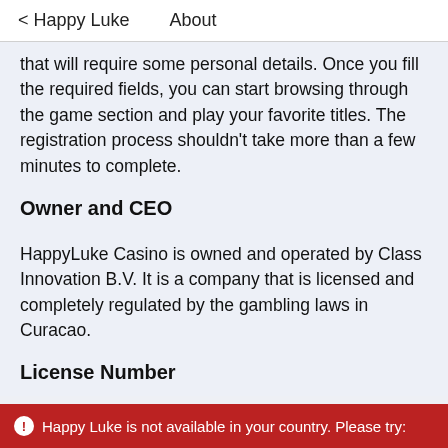< Happy Luke   About
that will require some personal details. Once you fill the required fields, you can start browsing through the game section and play your favorite titles. The registration process shouldn’t take more than a few minutes to complete.
Owner and CEO
HappyLuke Casino is owned and operated by Class Innovation B.V. It is a company that is licensed and completely regulated by the gambling laws in Curacao.
License Number
The license information is found on the footer of HappyLuke's site. As stated above, the operator is
Happy Luke is not available in your country. Please try: